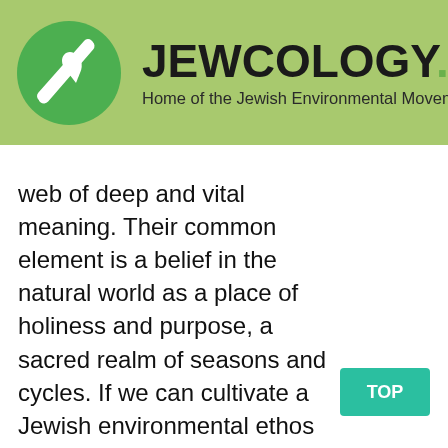[Figure (logo): Jewcology.org website header with green circle logo containing a leaf/drop icon and site name 'JEWCOLOGY.ORG' with tagline 'Home of the Jewish Environmental Movement' on a light green background]
web of deep and vital meaning. Their common element is a belief in the natural world as a place of holiness and purpose, a sacred realm of seasons and cycles. If we can cultivate a Jewish environmental ethos—a system of values, wisdom, rituals and skills that enable us to better inhabit and steward the natural world—our Judaism will certainly be more fulfilling. It would also enable us to converse and cooperate even more effectively with non-Jews who are engaged in similar work in their own traditions. I